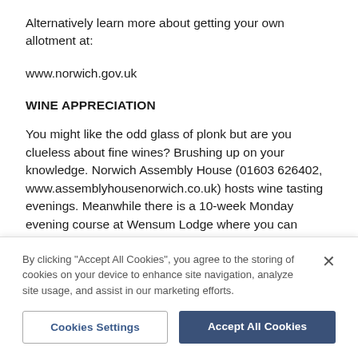Alternatively learn more about getting your own allotment at:
www.norwich.gov.uk
WINE APPRECIATION
You might like the odd glass of plonk but are you clueless about fine wines? Brushing up on your knowledge. Norwich Assembly House (01603 626402, www.assemblyhousenorwich.co.uk) hosts wine tasting evenings. Meanwhile there is a 10-week Monday evening course at Wensum Lodge where you can
By clicking "Accept All Cookies", you agree to the storing of cookies on your device to enhance site navigation, analyze site usage, and assist in our marketing efforts.
Cookies Settings
Accept All Cookies